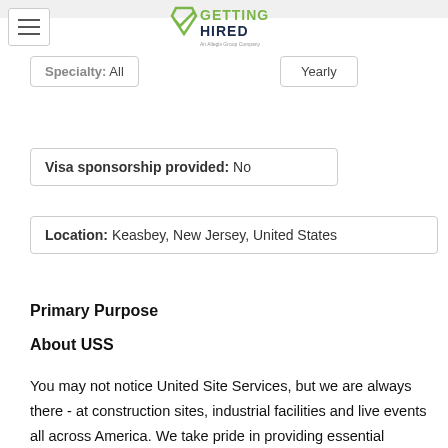[Figure (logo): Getting Hired logo - An Allegis Group Company]
Specialty: All
Yearly
Visa sponsorship provided: No
Location: Keasbey, New Jersey, United States
Primary Purpose
About USS
You may not notice United Site Services, but we are always there - at construction sites, industrial facilities and live events all across America. We take pride in providing essential services like portable restrooms, portable sinks, temporary fence and more for customers across 25 states. Join a company that makes a difference in communities